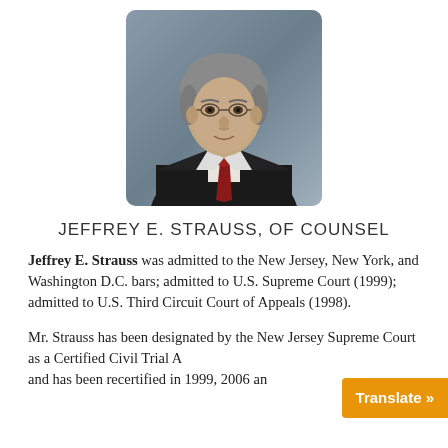[Figure (photo): Professional headshot of Jeffrey E. Strauss, a middle-aged man with gray hair, glasses, wearing a dark suit jacket, white dress shirt, and dark red tie, against a gray studio background.]
JEFFREY E. STRAUSS, OF COUNSEL
Jeffrey E. Strauss was admitted to the New Jersey, New York, and Washington D.C. bars; admitted to U.S. Supreme Court (1999); admitted to U.S. Third Circuit Court of Appeals (1998).
Mr. Strauss has been designated by the New Jersey Supreme Court as a Certified Civil Trial A… and has been recertified in 1999, 2006 an…